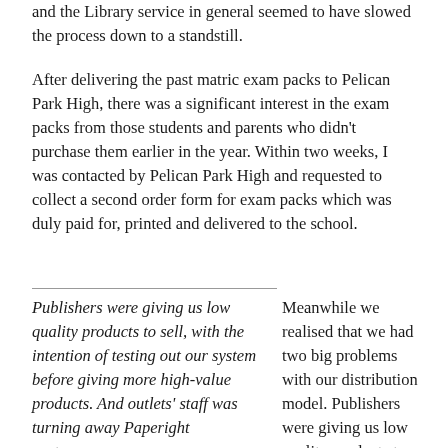and the Library service in general seemed to have slowed the process down to a standstill.
After delivering the past matric exam packs to Pelican Park High, there was a significant interest in the exam packs from those students and parents who didn't purchase them earlier in the year. Within two weeks, I was contacted by Pelican Park High and requested to collect a second order form for exam packs which was duly paid for, printed and delivered to the school.
Publishers were giving us low quality products to sell, with the intention of testing out our system before giving more high-value products. And outlets' staff was turning away Paperight customers.
Meanwhile we realised that we had two big problems with our distribution model. Publishers were giving us low quality products to sell, with the intention of testing out our system before giving more high-value products. And outlets' staff was turning